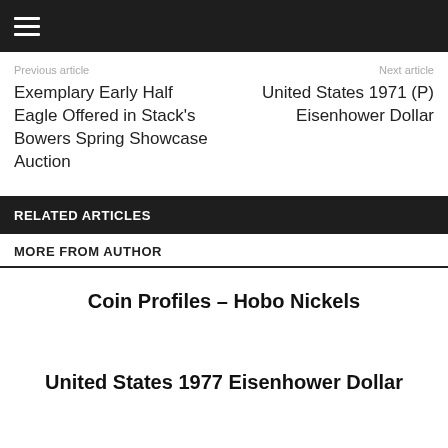☰
Previous article | Next article
Exemplary Early Half Eagle Offered in Stack's Bowers Spring Showcase Auction
United States 1971 (P) Eisenhower Dollar
RELATED ARTICLES
MORE FROM AUTHOR
Coin Profiles – Hobo Nickels
United States 1977 Eisenhower Dollar